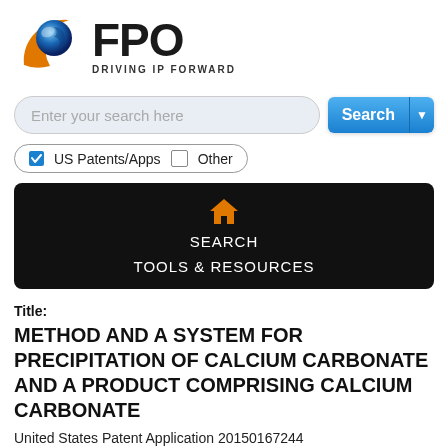[Figure (logo): FPO - Driving IP Forward logo with circular blue and orange globe icon]
[Figure (screenshot): Search bar with text 'Enter your search here' and blue Search button with dropdown arrow]
[Figure (screenshot): Checkbox filter row with checked 'US Patents/Apps' and unchecked 'Other' inside a pill-shaped border]
[Figure (screenshot): Dark navigation bar with orange home icon, SEARCH and TOOLS & RESOURCES links]
Title:
METHOD AND A SYSTEM FOR PRECIPITATION OF CALCIUM CARBONATE AND A PRODUCT COMPRISING CALCIUM CARBONATE
United States Patent Application 20150167244
Kind Code:    A1